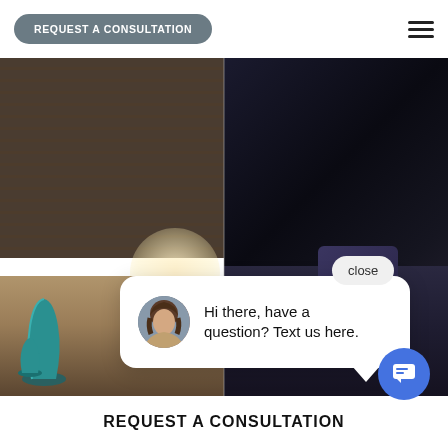REQUEST A CONSULTATION
[Figure (photo): Split image showing a living room with dark cellular shades/blinds on left half and a dark moody room interior on right half, with a chat popup overlay showing avatar and message 'Hi there, have a question? Text us here.' and a close button]
REQUEST A CONSULTATION